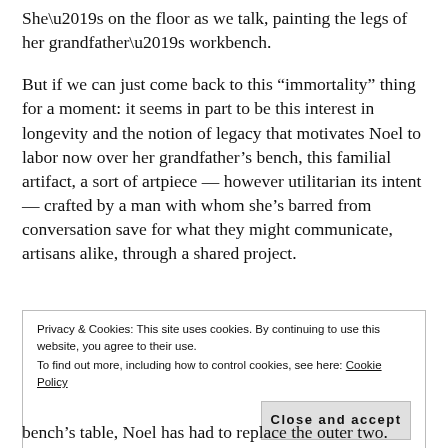She’s on the floor as we talk, painting the legs of her grandfather’s workbench.
But if we can just come back to this “immortality” thing for a moment: it seems in part to be this interest in longevity and the notion of legacy that motivates Noel to labor now over her grandfather’s bench, this familial artifact, a sort of artpiece — however utilitarian its intent — crafted by a man with whom she’s barred from conversation save for what they might communicate, artisans alike, through a shared project.
Privacy & Cookies: This site uses cookies. By continuing to use this website, you agree to their use.
To find out more, including how to control cookies, see here: Cookie Policy
Close and accept
bench’s table, Noel has had to replace the outer two.